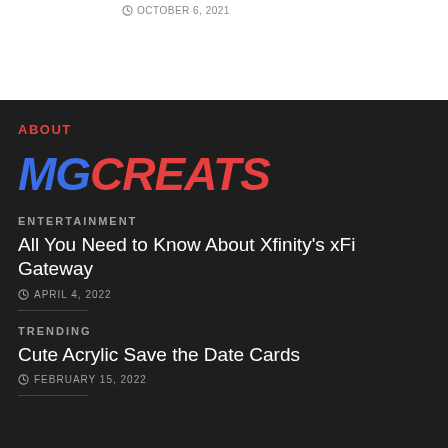OCTOBER 6, 2021
ABOUT
[Figure (logo): MGCreats logo with MG in blue italic and CREATS in red italic, large bold font]
ENTERTAINMENT
All You Need to Know About Xfinity's xFi Gateway
APRIL 4, 2022
TRENDING
Cute Acrylic Save the Date Cards
FEBRUARY 15, 2022